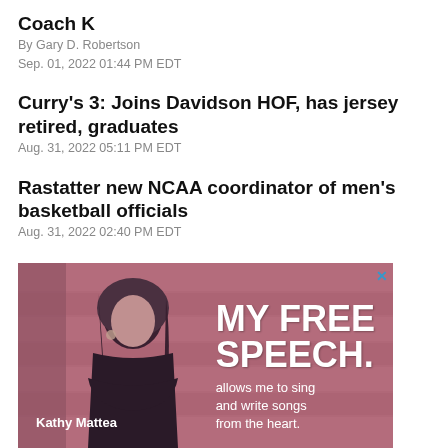Coach K
By Gary D. Robertson
Sep. 01, 2022 01:44 PM EDT
Curry's 3: Joins Davidson HOF, has jersey retired, graduates
Aug. 31, 2022 05:11 PM EDT
Rastatter new NCAA coordinator of men's basketball officials
Aug. 31, 2022 02:40 PM EDT
[Figure (photo): Advertisement featuring Kathy Mattea with text 'MY FREE SPEECH allows me to sing and write songs from the heart.']